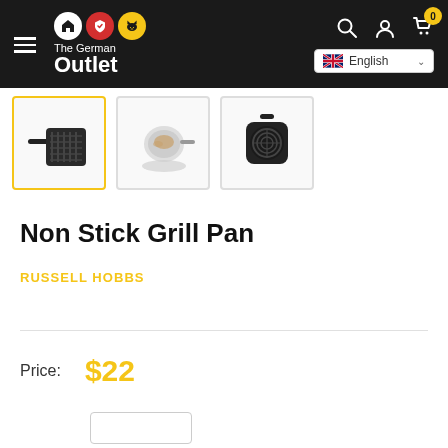The German Outlet — Navigation bar with logo, search, account, cart, and English language selector
[Figure (photo): Three product thumbnail images of a Non Stick Grill Pan: first (active/selected) shows a square black grill pan from side angle; second shows the pan from above with food; third shows the pan from below revealing the ribbed grill surface.]
Non Stick Grill Pan
RUSSELL HOBBS
Price: $22